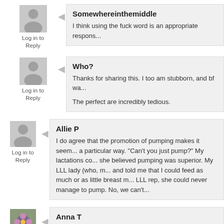Somewhereinthemiddle
I think using the fuck word is an appropriate respons...
Log in to Reply
Who?
Thanks for sharing this. I too am stubborn, and bf wa...
The perfect are incredibly tedious.
Log in to Reply
Allie P
I do agree that the promotion of pumping makes it seem... a particular way. "Can't you just pump?" My lactations co... she believed pumping was superior. My LLL lady (who, m... and told me that I could feed as much or as little breast m... LLL rep, she could never manage to pump. No, we can't...
Log in to Reply
Anna T
Feeding pumped breastmilk is definitely inferior to breas...
Log in to